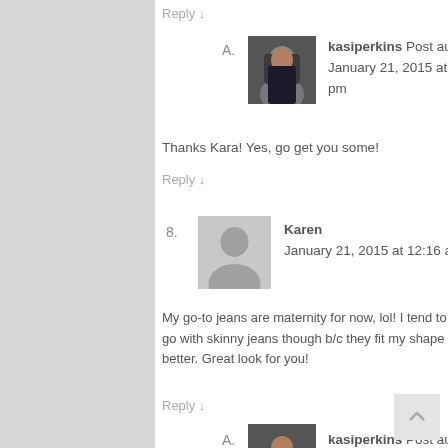Reply ↓
[Figure (photo): Avatar photo of kasiperkins, a woman in a black top]
kasiperkins Post author
January 21, 2015 at 5:08 pm
Thanks Kara! Yes, go get you some!
Reply ↓
8.
[Figure (illustration): Generic grey avatar silhouette placeholder for Karen]
Karen
January 21, 2015 at 12:16 am
My go-to jeans are maternity for now, lol! I tend to go with skinny jeans though b/c they fit my shape better. Great look for you!
Reply ↓
A.
[Figure (photo): Avatar photo of kasiperkins, a woman in a black top]
kasiperkins Post author
January 21, 2015 at 12:41 pm